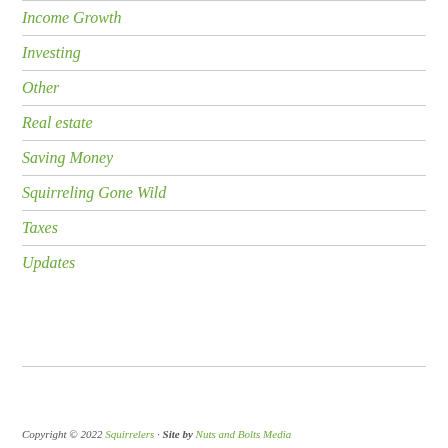Income Growth
Investing
Other
Real estate
Saving Money
Squirreling Gone Wild
Taxes
Updates
Copyright © 2022 Squirrelers · Site by Nuts and Bolts Media